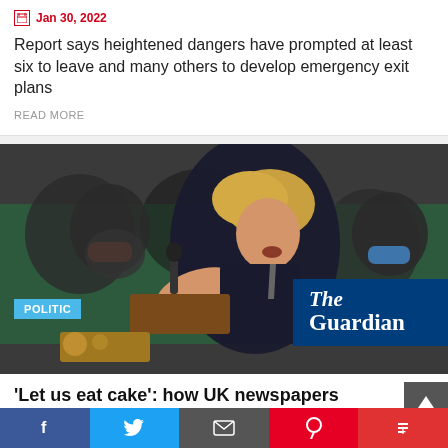Jan 30, 2022
Report says heightened dangers have prompted at least six to leave and many others to develop emergency exit plans
READ MORE
[Figure (photo): Boris Johnson speaking at a podium in the UK Parliament, gesturing with his hand, with the POLITIC badge and The Guardian logo overlaid]
'Let us eat cake': how UK newspapers reacted to latest No 10 party claims